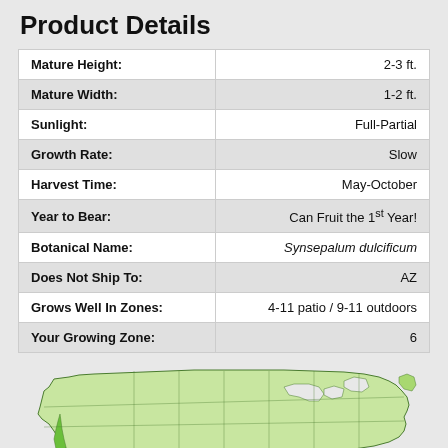Product Details
| Mature Height: | 2-3 ft. |
| Mature Width: | 1-2 ft. |
| Sunlight: | Full-Partial |
| Growth Rate: | Slow |
| Harvest Time: | May-October |
| Year to Bear: | Can Fruit the 1st Year! |
| Botanical Name: | Synsepalum dulcificum |
| Does Not Ship To: | AZ |
| Grows Well In Zones: | 4-11 patio / 9-11 outdoors |
| Your Growing Zone: | 6 |
[Figure (map): USDA hardiness zone map of the United States showing growing zones highlighted in green.]